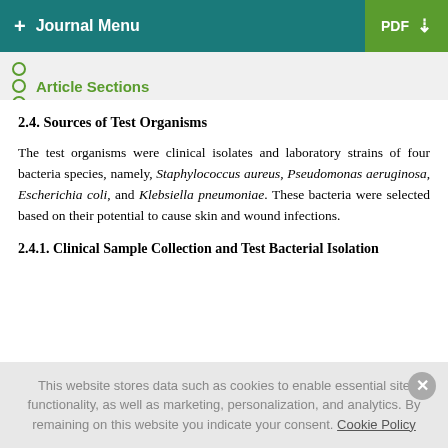+ Journal Menu | PDF ↓
Article Sections
2.4. Sources of Test Organisms
The test organisms were clinical isolates and laboratory strains of four bacteria species, namely, Staphylococcus aureus, Pseudomonas aeruginosa, Escherichia coli, and Klebsiella pneumoniae. These bacteria were selected based on their potential to cause skin and wound infections.
2.4.1. Clinical Sample Collection and Test Bacterial Isolation
This website stores data such as cookies to enable essential site functionality, as well as marketing, personalization, and analytics. By remaining on this website you indicate your consent. Cookie Policy